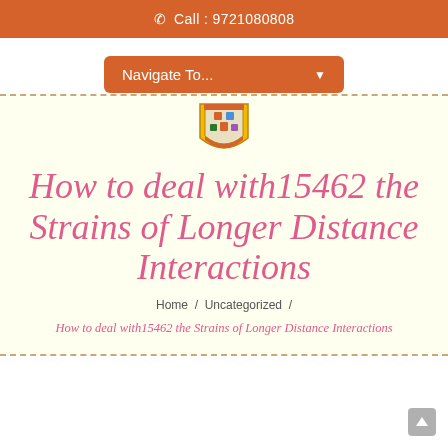Call : 9721080808
[Figure (logo): School/institution crest or coat of arms logo]
How to deal with15462 the Strains of Longer Distance Interactions
Home / Uncategorized /
How to deal with15462 the Strains of Longer Distance Interactions